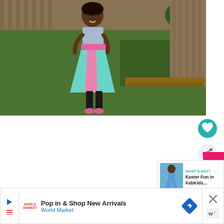[Figure (photo): A young girl standing in a backyard, wearing a light blue top with a pink and teal color-block skirt, black leggings, and pink shoes. She is posing with one hand on her hip and smiling. The background shows a green lawn, wooden fence, and raised garden bed.]
[Figure (screenshot): UI overlay icons: a teal circular heart/favorite button and a light circular share button with plus icon.]
[Figure (screenshot): What's Next card showing a thumbnail of a girl in blue dress with text 'WHAT'S NEXT → Easter Fun in FabKids...']
[Figure (screenshot): Advertisement banner: 'Pop in & Shop New Arrivals' from World Market with a blue navigation arrow diamond icon and close X button.]